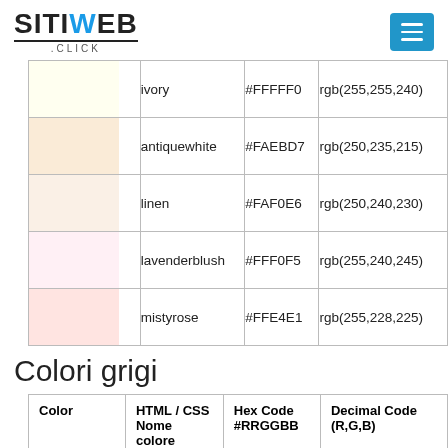SITIWEB.CLICK
| Color | HTML / CSS Nome colore | Hex Code #RRGGBB | Decimal Code (R,G,B) |
| --- | --- | --- | --- |
| [ivory swatch] | ivory | #FFFFF0 | rgb(255,255,240) |
| [antiquewhite swatch] | antiquewhite | #FAEBD7 | rgb(250,235,215) |
| [linen swatch] | linen | #FAF0E6 | rgb(250,240,230) |
| [lavenderblush swatch] | lavenderblush | #FFF0F5 | rgb(255,240,245) |
| [mistyrose swatch] | mistyrose | #FFE4E1 | rgb(255,228,225) |
Colori grigi
| Color | HTML / CSS Nome colore | Hex Code #RRGGBB | Decimal Code (R,G,B) |
| --- | --- | --- | --- |
| [gainsboro swatch] | gainsboro | #DCDCDC | rgb(220,220,220) |